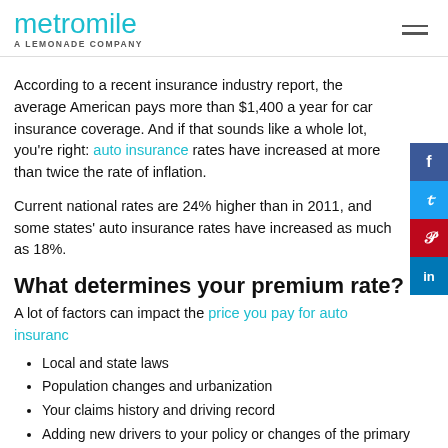metromile — A LEMONADE COMPANY
According to a recent insurance industry report, the average American pays more than $1,400 a year for car insurance coverage. And if that sounds like a whole lot, you're right: auto insurance rates have increased at more than twice the rate of inflation.
Current national rates are 24% higher than in 2011, and some states' auto insurance rates have increased as much as 18%.
What determines your premium rate?
A lot of factors can impact the price you pay for auto insurance
Local and state laws
Population changes and urbanization
Your claims history and driving record
Adding new drivers to your policy or changes of the primary drivers of vehicles on the policy, especially teenage drivers